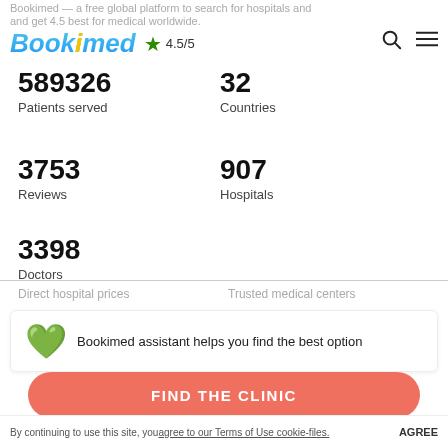Bookimed — a free global platform to search for hospitals and get 4.5/5 for medical worldwide. ★ 4.5/5
589326 Patients served
32 Countries
3753 Reviews
907 Hospitals
3398 Doctors
Direct hospital prices   Trusted medical centers
Bookimed assistant helps you find the best option
FIND THE CLINIC
By continuing to use this site, you agree to our Terms of Use cookie-files.  AGREE